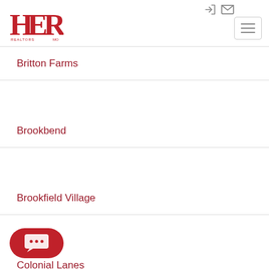HER REALTORS
Britton Farms
Brookbend
Brookfield Village
Colonial Lanes
Conklin
Cross Creek